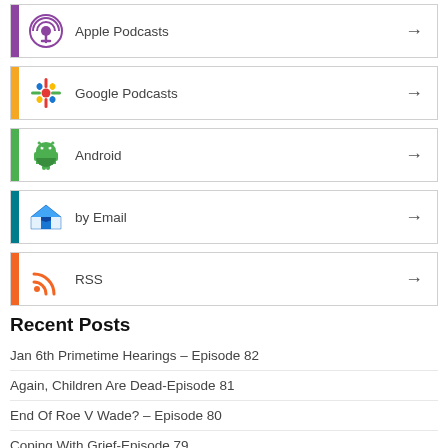Apple Podcasts
Google Podcasts
Android
by Email
RSS
Recent Posts
Jan 6th Primetime Hearings – Episode 82
Again, Children Are Dead-Episode 81
End Of Roe V Wade? – Episode 80
Coping With Grief-Episode 79